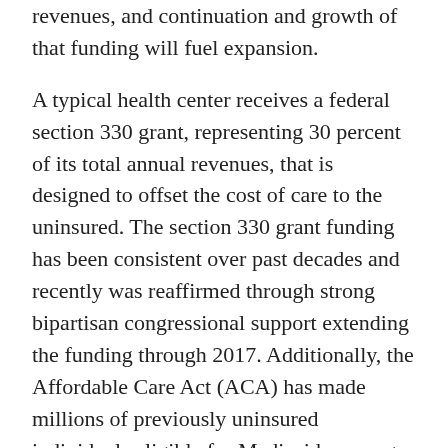revenues, and continuation and growth of that funding will fuel expansion.
A typical health center receives a federal section 330 grant, representing 30 percent of its total annual revenues, that is designed to offset the cost of care to the uninsured. The section 330 grant funding has been consistent over past decades and recently was reaffirmed through strong bipartisan congressional support extending the funding through 2017. Additionally, the Affordable Care Act (ACA) has made millions of previously uninsured individuals eligible for Medicaid coverage, which has dramatically increased the number of patients served by health centers.
Health centers now serve annually more than 5